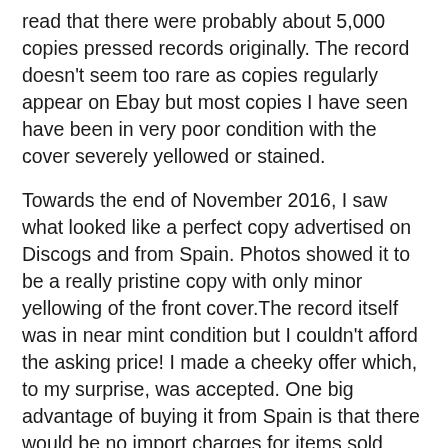read that there were probably about 5,000 copies pressed records originally. The record doesn't seem too rare as copies regularly appear on Ebay but most copies I have seen have been in very poor condition with the cover severely yellowed or stained.
Towards the end of November 2016, I saw what looked like a perfect copy advertised on Discogs and from Spain. Photos showed it to be a really pristine copy with only minor yellowing of the front cover.The record itself was in near mint condition but I couldn't afford the asking price! I made a cheeky offer which, to my surprise, was accepted. One big advantage of buying it from Spain is that there would be no import charges for items sold within the European Union.
The seller wanted payment via Payoneer–a service I had never heard of and that took over a week to process my payment. So by the 12th December I hoped my record would be on its way. The seller had sent. The seller informed the following day it...